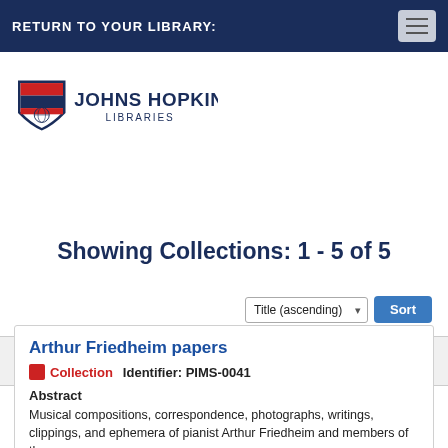RETURN TO YOUR LIBRARY:
[Figure (logo): Johns Hopkins Libraries logo with shield and text]
MENU
Showing Collections: 1 - 5 of 5
Title (ascending) Sort
Arthur Friedheim papers
Collection   Identifier: PIMS-0041
Abstract
Musical compositions, correspondence, photographs, writings, clippings, and ephemera of pianist Arthur Friedheim and members of the